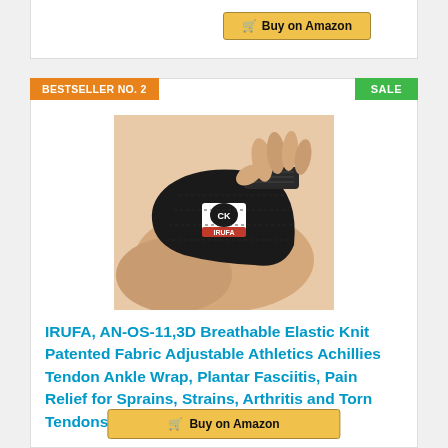[Figure (screenshot): Top card with Buy on Amazon button (partially visible at top of page)]
BESTSELLER NO. 2
SALE
[Figure (photo): Photo of a black ankle brace/wrap (IRUFA brand) being worn on a foot and heel, with a hand adjusting the strap. The product has a logo with CK and IRUFA text.]
IRUFA, AN-OS-11,3D Breathable Elastic Knit Patented Fabric Adjustable Athletics Achillies Tendon Ankle Wrap, Plantar Fasciitis, Pain Relief for Sprains, Strains, Arthritis and Torn Tendons (S/M)
$16.99 ✓Prime
Buy on Amazon